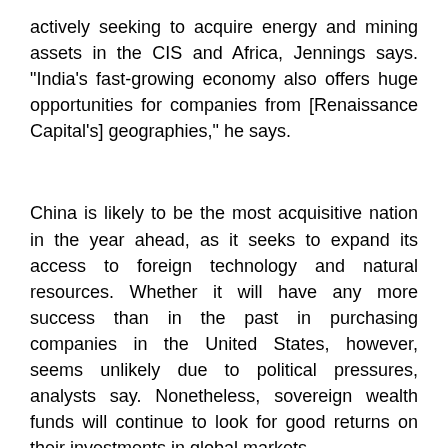actively seeking to acquire energy and mining assets in the CIS and Africa, Jennings says. "India's fast-growing economy also offers huge opportunities for companies from [Renaissance Capital's] geographies," he says.
China is likely to be the most acquisitive nation in the year ahead, as it seeks to expand its access to foreign technology and natural resources. Whether it will have any more success than in the past in purchasing companies in the United States, however, seems unlikely due to political pressures, analysts say. Nonetheless, sovereign wealth funds will continue to look for good returns on their investments in global markets.
While credit markets are easing for some participants, financing will remain the main challenge to M&A; activity in the United States in 2010, increasing the pressure on middlemarket deals, according to PricewaterhouseCoopers' New York-based transaction-services practice. Strategic